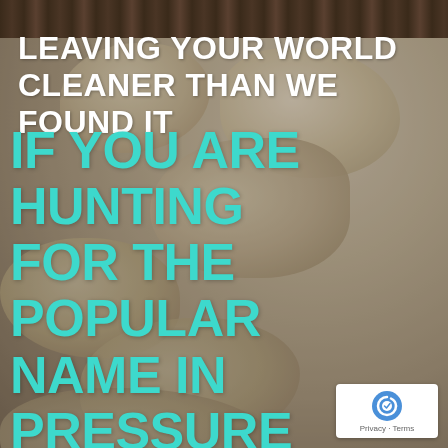[Figure (photo): Background photo of large pale limestone or sandstone rocks/stones on a wooden deck surface, with a dark wood strip visible at the top. The overall tone is beige/tan with grey-brown tones.]
LEAVING YOUR WORLD CLEANER THAN WE FOUND IT
IF YOU ARE HUNTING FOR THE POPULAR NAME IN PRESSURE WASHING, LOOK NO MORE. FROM